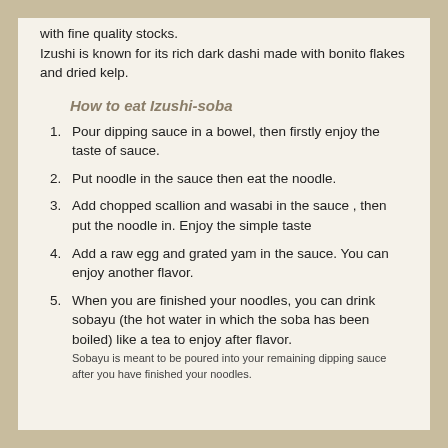with fine quality stocks.
Izushi is known for its rich dark dashi made with bonito flakes and dried kelp.
How to eat Izushi-soba
1. Pour dipping sauce in a bowel, then firstly enjoy the taste of sauce.
2. Put noodle in the sauce then eat the noodle.
3. Add chopped scallion and wasabi in the sauce , then put the noodle in. Enjoy the simple taste
4. Add a raw egg and grated yam in the sauce. You can enjoy another flavor.
5. When you are finished your noodles, you can drink sobayu (the hot water in which the soba has been boiled) like a tea to enjoy after flavor.
Sobayu is meant to be poured into your remaining dipping sauce after you have finished your noodles.